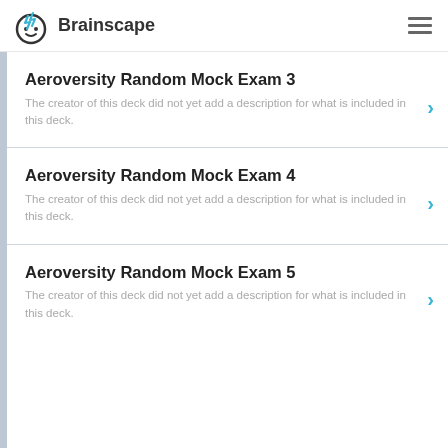Brainscape
Aeroversity Random Mock Exam 3
The creator of this deck did not yet add a description for what is included in this deck.
Aeroversity Random Mock Exam 4
The creator of this deck did not yet add a description for what is included in this deck.
Aeroversity Random Mock Exam 5
The creator of this deck did not yet add a description for what is included in this deck.